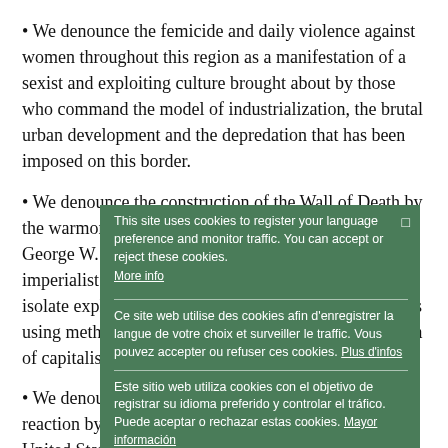• We denounce the femicide and daily violence against women throughout this region as a manifestation of a sexist and exploiting culture brought about by those who command the model of industrialization, the brutal urban development and the depredation that has been imposed on this border.
• We denounce the construction of the Wall of Death by the warmongering and authoritarian government of George W. Bush. We denounce the walls erected by the imperialist powers: they are projects to divide and isolate exploited peoples to expel them from their lands using methods characteristic of the most primitive form of capitalism.
• We denounce the delayed, timid, limited and petty reaction by the authorities of both Mexico and the United States respectively, in dealing with the families and individuals devastated by Hurricane Katrina in the New Orleans region of Louisiana and the
This site uses cookies to register your language preference and monitor traffic. You can accept or reject these cookies. More info
Ce site web utilise des cookies afin d'enregistrer la langue de votre choix et surveiller le traffic. Vous pouvez accepter ou refuser ces cookies. Plus d'infos
Este sitio web utiliza cookies con el objetivo de registrar su idioma preferido y controlar el tráfico. Puede aceptar o rechazar estas cookies. Mayor información
Ok